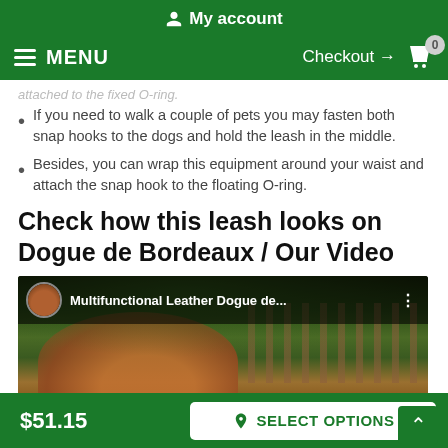My account
MENU  Checkout → 0
attached to the fixed O-ring.
If you need to walk a couple of pets you may fasten both snap hooks to the dogs and hold the leash in the middle.
Besides, you can wrap this equipment around your waist and attach the snap hook to the floating O-ring.
Check how this leash looks on Dogue de Bordeaux / Our Video
[Figure (screenshot): YouTube video thumbnail showing a Dogue de Bordeaux dog wearing a leather leash, with a wooden fence in the background. Video title: Multifunctional Leather Dogue de...]
$51.15  SELECT OPTIONS